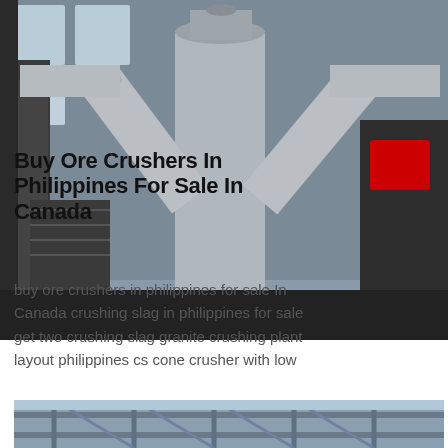[Figure (photo): Industrial crusher machinery with large grey pipes and columns in a factory or mining facility]
Buy Ore Crushers In Philippines For Sale In Canada
buy ore crushers in philippines for sale In Canada crushing slag in philippines for sale get two crushing slag granite crushing plant layout philippines cs cone crusher with low capacity 50 th and lar more 2012 quarry equipment rock impact breaker hmgroupjul 23 2012 mobile rock crusher machine ht home impact crusher breaker sale produ used mobile buy ore crushers in philippines mining machinery
[Figure (photo): Industrial steel structure scaffolding in a mining or construction facility]